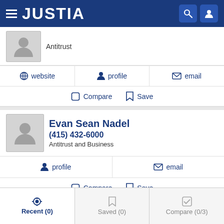JUSTIA
Antitrust
website  profile  email
Compare  Save
Evan Sean Nadel
(415) 432-6000
Antitrust and Business
profile  email
Compare  Save
Recent (0)  Saved (0)  Compare (0/3)